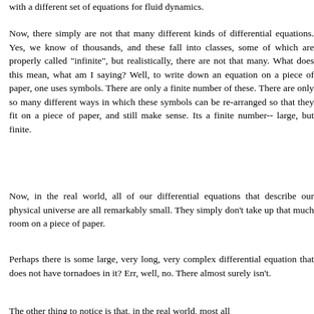with a different set of equations for fluid dynamics.
Now, there simply are not that many different kinds of differential equations. Yes, we know of thousands, and these fall into classes, some of which are properly called "infinite", but realistically, there are not that many. What does this mean, what am I saying? Well, to write down an equation on a piece of paper, one uses symbols. There are only a finite number of these. There are only so many different ways in which these symbols can be re-arranged so that they fit on a piece of paper, and still make sense. Its a finite number-- large, but finite.
Now, in the real world, all of our differential equations that describe our physical universe are all remarkably small. They simply don't take up that much room on a piece of paper.
Perhaps there is some large, very long, very complex differential equation that does not have tornadoes in it? Err, well, no. There almost surely isn't.
The other thing to notice is that, in the real world, most all